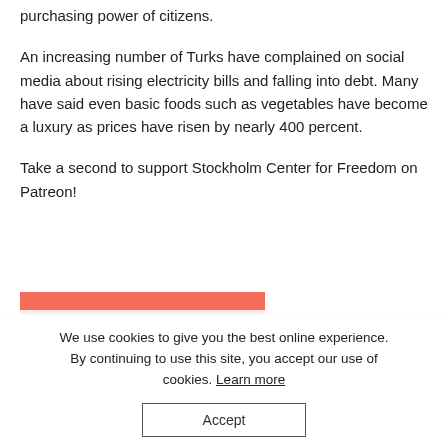purchasing power of citizens.
An increasing number of Turks have complained on social media about rising electricity bills and falling into debt. Many have said even basic foods such as vegetables have become a luxury as prices have risen by nearly 400 percent.
Take a second to support Stockholm Center for Freedom on Patreon!
[Figure (other): Red progress bar with a horizontal divider line below it]
We use cookies to give you the best online experience. By continuing to use this site, you accept our use of cookies. Learn more
Accept